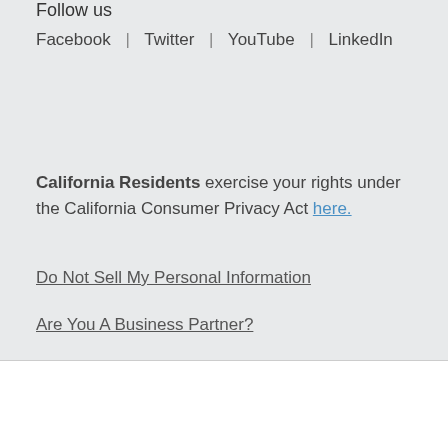Follow us
Facebook | Twitter | YouTube | LinkedIn
California Residents exercise your rights under the California Consumer Privacy Act here.
Do Not Sell My Personal Information
Are You A Business Partner?
This site uses cookies to provide you with a great user experience. By using iSpot.tv, you accept our use of cookies. ACCEPT